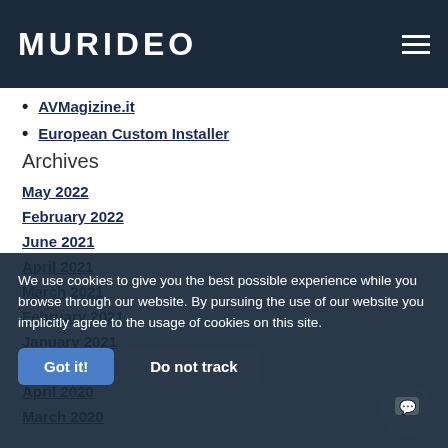MURIDEO
AVMagizine.it
European Custom Installer
Archives
May 2022
February 2022
June 2021
April 2021
March 2021
February 2021
January 2021
June 2020
April 2020
March 2020
We use cookies to give you the best possible experience while you browse through our website. By pursuing the use of our website you implicitly agree to the usage of cookies on this site.